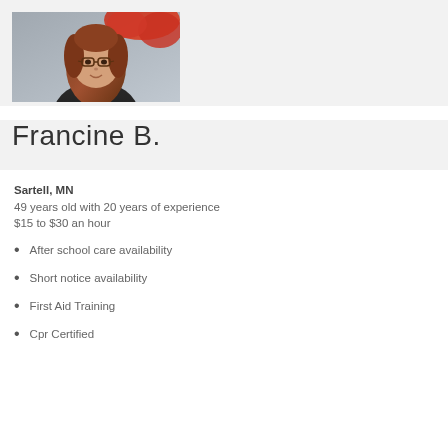[Figure (photo): Profile photo of Francine B., a woman with glasses and long brown hair, outdoors with red foliage in background]
Francine B.
Sartell, MN
49 years old with 20 years of experience
$15 to $30 an hour
After school care availability
Short notice availability
First Aid Training
Cpr Certified